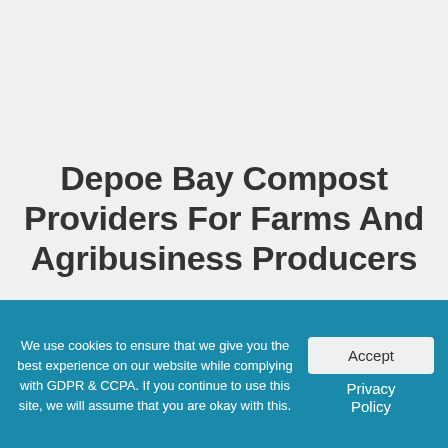Depoe Bay Compost Providers For Farms And Agribusiness Producers
A vital component necessary to improve your soil in Depoe Bay is the regeneration of its microorganisms profile based on your specific
We use cookies to ensure that we give you the best experience on our website while complying with GDPR & CCPA. If you continue to use this site, we will assume that you are okay with this.